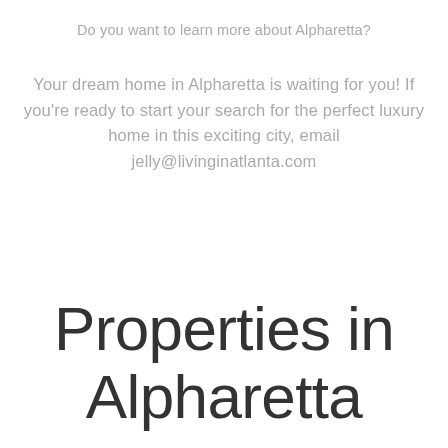Do you want to learn more about Alpharetta?
Your dream home in Alpharetta is waiting for you! If you're ready to start your search for the perfect luxury home in this exciting city, email jelly@livinginatlanta.com
Properties in Alpharetta